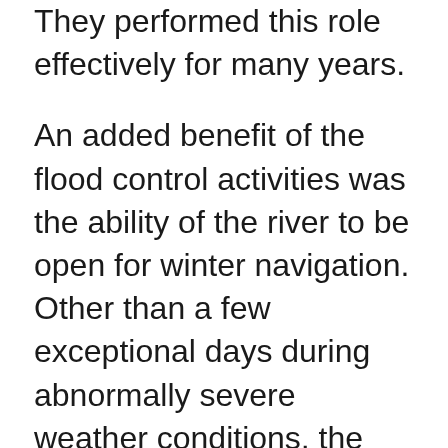They performed this role effectively for many years.
An added benefit of the flood control activities was the ability of the river to be open for winter navigation. Other than a few exceptional days during abnormally severe weather conditions, the river has been kept open year-round as far as Montréal since the late 1950s.
This extension of the navigation season to Montréal increased the demand for icebreaker services throughout the Gulf of St. Lawrence and its ports. Icebreaking